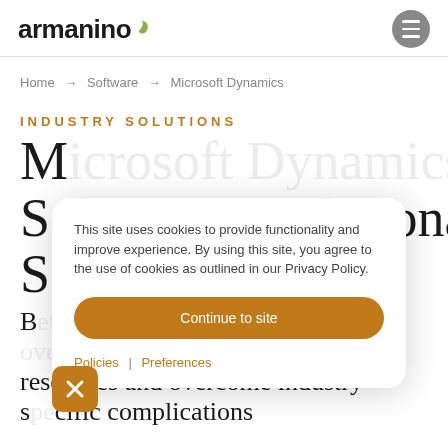armanino
Home → Software → Microsoft Dynamics
INDUSTRY SOLUTIONS
M...365 S...sional S...
This site uses cookies to provide functionality and improve experience. By using this site, you agree to the use of cookies as outlined in our Privacy Policy.
Continue to site
Policies | Preferences
B...nage resources and overcome industry-specific complications